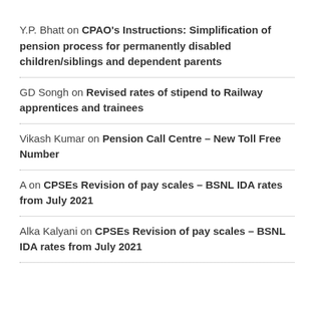Y.P. Bhatt on CPAO's Instructions: Simplification of pension process for permanently disabled children/siblings and dependent parents
GD Songh on Revised rates of stipend to Railway apprentices and trainees
Vikash Kumar on Pension Call Centre – New Toll Free Number
A on CPSEs Revision of pay scales – BSNL IDA rates from July 2021
Alka Kalyani on CPSEs Revision of pay scales – BSNL IDA rates from July 2021